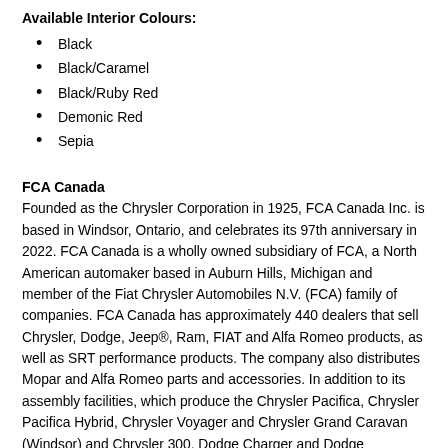Available Interior Colours:
Black
Black/Caramel
Black/Ruby Red
Demonic Red
Sepia
FCA Canada
Founded as the Chrysler Corporation in 1925, FCA Canada Inc. is based in Windsor, Ontario, and celebrates its 97th anniversary in 2022. FCA Canada is a wholly owned subsidiary of FCA, a North American automaker based in Auburn Hills, Michigan and member of the Fiat Chrysler Automobiles N.V. (FCA) family of companies. FCA Canada has approximately 440 dealers that sell Chrysler, Dodge, Jeep®, Ram, FIAT and Alfa Romeo products, as well as SRT performance products. The company also distributes Mopar and Alfa Romeo parts and accessories. In addition to its assembly facilities, which produce the Chrysler Pacifica, Chrysler Pacifica Hybrid, Chrysler Voyager and Chrysler Grand Caravan (Windsor) and Chrysler 300, Dodge Charger and Dodge Challenger (Brampton), FCA Canada operates an